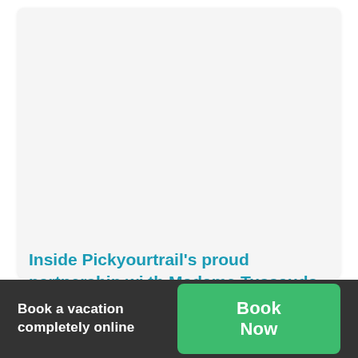[Figure (other): Large light gray placeholder image area with rounded corners inside a card]
Inside Pickyourtrail's proud partnership with Madame Tussauds in unveiling Kajal Aggarwal's wax statue
Book a vacation completely online
Book Now